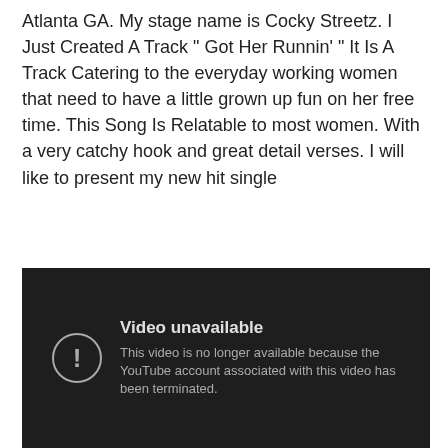Atlanta GA. My stage name is Cocky Streetz. I Just Created A Track " Got Her Runnin' " It Is A Track Catering to the everyday working women that need to have a little grown up fun on her free time. This Song Is Relatable to most women. With a very catchy hook and great detail verses. I will like to present my new hit single
[Figure (screenshot): YouTube video unavailable screen with dark background, exclamation icon in a circle, title 'Video unavailable', and message 'This video is no longer available because the YouTube account associated with this video has been terminated.']